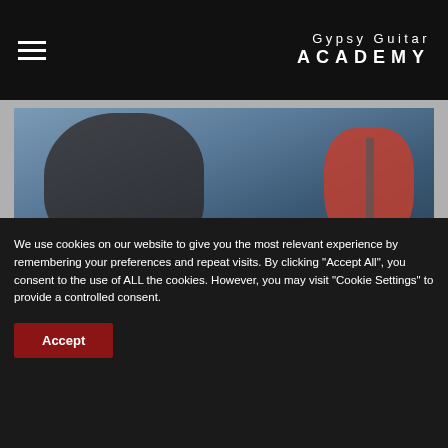Gypsy Guitar ACADEMY
[Figure (photo): Photo of a guitarist playing, partially visible, with a red guitar against a blue background]
I've found a new baby
[Figure (photo): Photo of a person in a black shirt holding a reddish-brown archtop guitar against a blue background]
We use cookies on our website to give you the most relevant experience by remembering your preferences and repeat visits. By clicking “Accept All”, you consent to the use of ALL the cookies. However, you may visit “Cookie Settings” to provide a controlled consent.
Accept